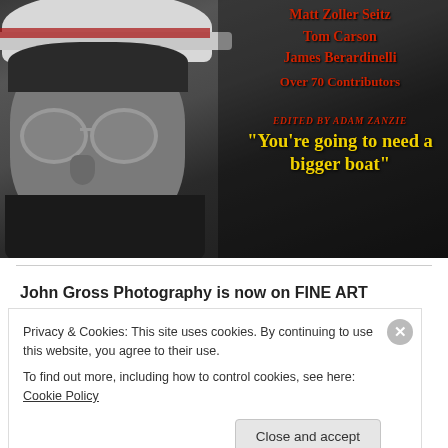[Figure (photo): Black and white photo of a man wearing a hat and large aviator glasses, close-up portrait. Overlaid with red text listing contributors (Matt Zoller Seitz, Tom Carson, James Berardinelli, Over 70 Contributors), red italic text 'Edited by Adam Zanzie', and large yellow bold quote text: "You're going to need a bigger boat"]
John Gross Photography is now on FINE ART
Privacy & Cookies: This site uses cookies. By continuing to use this website, you agree to their use.
To find out more, including how to control cookies, see here: Cookie Policy